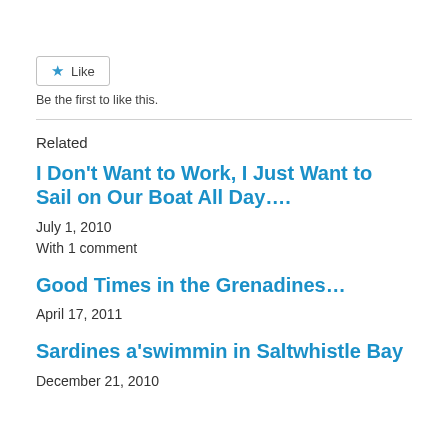[Figure (other): Like button with star icon and text 'Like']
Be the first to like this.
Related
I Don't Want to Work, I Just Want to Sail on Our Boat All Day….
July 1, 2010
With 1 comment
Good Times in the Grenadines…
April 17, 2011
Sardines a'swimmin in Saltwhistle Bay
December 21, 2010